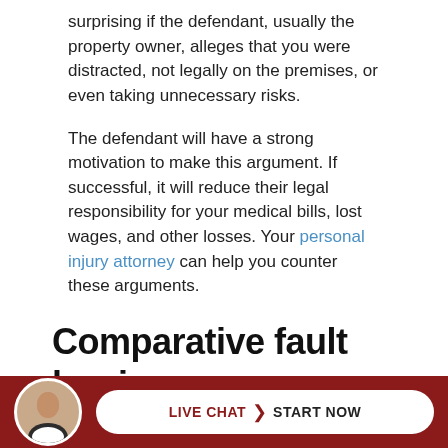surprising if the defendant, usually the property owner, alleges that you were distracted, not legally on the premises, or even taking unnecessary risks.
The defendant will have a strong motivation to make this argument. If successful, it will reduce their legal responsibility for your medical bills, lost wages, and other losses. Your personal injury attorney can help you counter these arguments.
Comparative fault law in California
California is one of many states that follow what is known as a comparative fault, or comparative negligence law...
[Figure (infographic): Live chat widget with attorney avatar and 'LIVE CHAT > START NOW' button on dark red background bar at bottom of page]